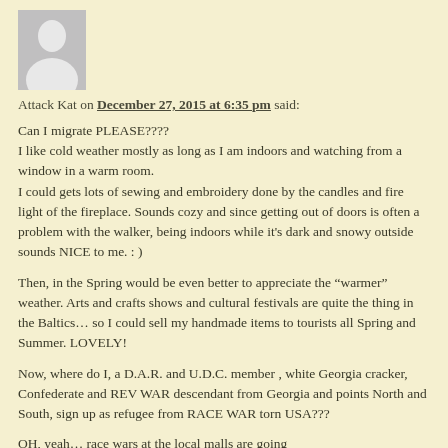[Figure (illustration): Generic gray avatar/profile placeholder silhouette image]
Attack Kat on December 27, 2015 at 6:35 pm said:
Can I migrate PLEASE????
I like cold weather mostly as long as I am indoors and watching from a window in a warm room.
I could gets lots of sewing and embroidery done by the candles and fire light of the fireplace. Sounds cozy and since getting out of doors is often a problem with the walker, being indoors while it's dark and snowy outside sounds NICE to me. : )

Then, in the Spring would be even better to appreciate the “warmer” weather. Arts and crafts shows and cultural festivals are quite the thing in the Baltics… so I could sell my handmade items to tourists all Spring and Summer. LOVELY!

Now, where do I, a D.A.R. and U.D.C. member , white Georgia cracker, Confederate and REV WAR descendant from Georgia and points North and South, sign up as refugee from RACE WAR torn USA???

OH, yeah… race wars at the local malls are going